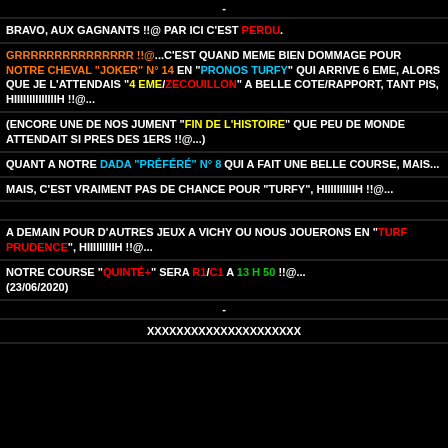-
BRAVO, AUX GAGNANTS !!@ PAR ICI C'EST PERDU.
GRRRRRRRRRRRRRRR !!@...C'EST QUAND MEME BIEN DOMMAGE POUR NOTRE CHEVAL "JOKER" N° 14 EN "PRONOS TURFY" QUI ARRIVE 6 EME, ALORS QUE JE L'ATTENDAIS "4 EME/ZECOUILLON" A BELLE COTE/RAPPORT, TANT PIS, HIIIIIIIIIIIIIIH !!@...
(ENCORE UNE DE NOS JUMENT "FIN DE L'HISTOIRE" QUE PEU DE MONDE ATTENDAIT SI PRES DES 1ERS !!@...)
QUANT A NOTRE DADA "PRÉFÉRÉ" N° 8 QUI A FAIT UNE BELLE COURSE, MAIS...
MAIS, C'EST VRAIMENT PAS DE CHANCE POUR "TURFY", HIIIIIIIIIIH !!@...
A DEMAIN POUR D'AUTRES JEUX A VICHY OU NOUS JOUERONS EN "TURF PRUDENCE", HIIIIIIIIIH !!@...
NOTRE COURSE "QUINTÉ+" SERA R1/C1 A 13 H 50 !!@... (23/06/2020)
-
XXXXXXXXXXXXXXXXXXXXX